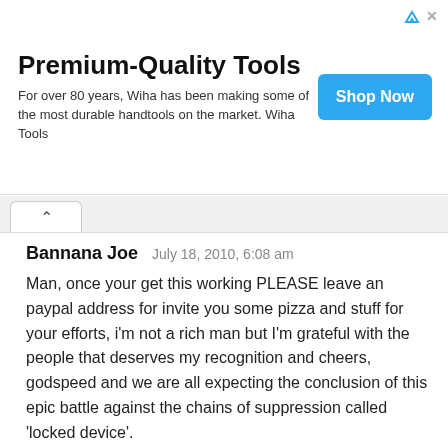[Figure (other): Advertisement banner for Wiha Tools - Premium-Quality Tools with Shop Now button]
Bannana Joe   July 18, 2010, 6:08 am
Man, once your get this working PLEASE leave an paypal address for invite you some pizza and stuff for your efforts, i'm not a rich man but I'm grateful with the people that deserves my recognition and cheers, godspeed and we are all expecting the conclusion of this epic battle against the chains of suppression called 'locked device'.
Reply   Link